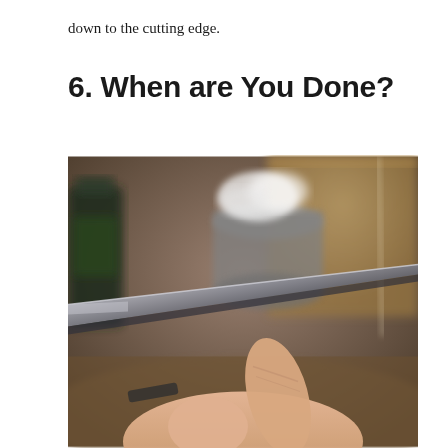down to the cutting edge.
6. When are You Done?
[Figure (photo): Close-up photograph of a hand holding a thin metal knife blade at an angle, inspecting the cutting edge. In the background are a cardboard box, a metal tin with sharpening tools, and a dark bottle.]